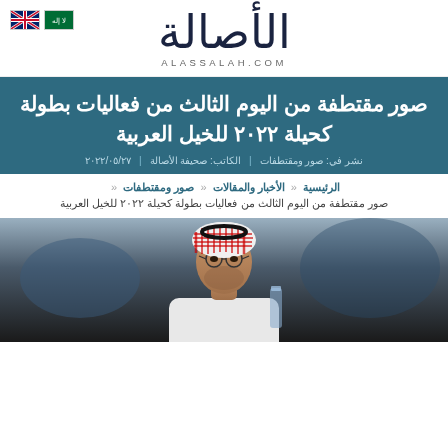AlAssalah - ALASSALAH.COM
صور مقتطفة من اليوم الثالث من فعاليات بطولة كحيلة ٢٠٢٢ للخيل العربية
نشر في: صور ومقتطفات | الكاتب: صحيفة الأصالة | ٢٠٢٢/٠٥/٢٧
الرئيسية « الأخبار والمقالات « صور ومقتطفات «
صور مقتطفة من اليوم الثالث من فعاليات بطولة كحيلة ٢٠٢٢ للخيل العربية
[Figure (photo): A man wearing traditional Saudi Arabian dress (thobe and red-white checkered shemagh headscarf) photographed at what appears to be an event, blurred background]